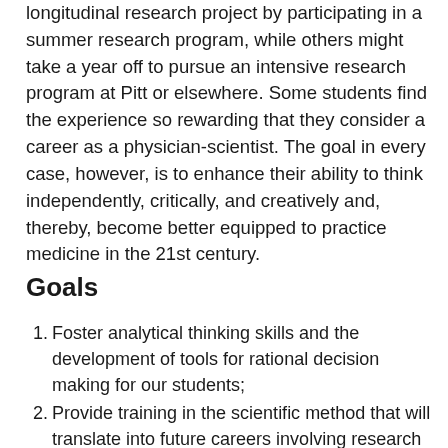longitudinal research project by participating in a summer research program, while others might take a year off to pursue an intensive research program at Pitt or elsewhere. Some students find the experience so rewarding that they consider a career as a physician-scientist. The goal in every case, however, is to enhance their ability to think independently, critically, and creatively and, thereby, become better equipped to practice medicine in the 21st century.
Goals
Foster analytical thinking skills and the development of tools for rational decision making for our students;
Provide training in the scientific method that will translate into future careers involving research and/or clinical practice;